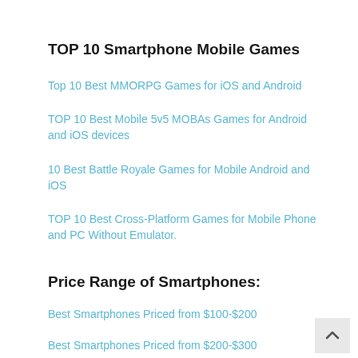TOP 10 Smartphone Mobile Games
Top 10 Best MMORPG Games for iOS and Android
TOP 10 Best Mobile 5v5 MOBAs Games for Android and iOS devices
10 Best Battle Royale Games for Mobile Android and iOS
TOP 10 Best Cross-Platform Games for Mobile Phone and PC Without Emulator.
Price Range of Smartphones:
Best Smartphones Priced from $100-$200
Best Smartphones Priced from $200-$300